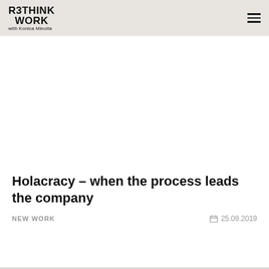RETHINK WORK with Konica Minolta
[Figure (other): Large white empty image area below the header, representing a featured article image placeholder]
Holacracy – when the process leads the company
NEW WORK
25.09.2019